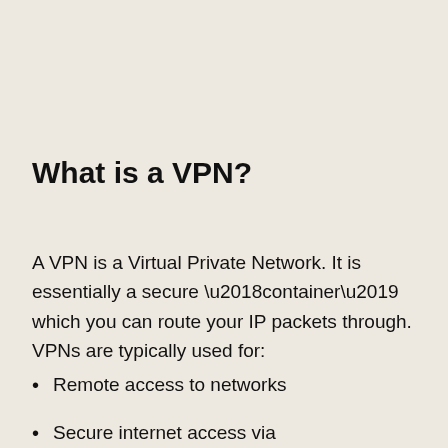What is a VPN?
A VPN is a Virtual Private Network. It is essentially a secure ‘container’ which you can route your IP packets through. VPNs are typically used for:
Remote access to networks
Secure internet access via